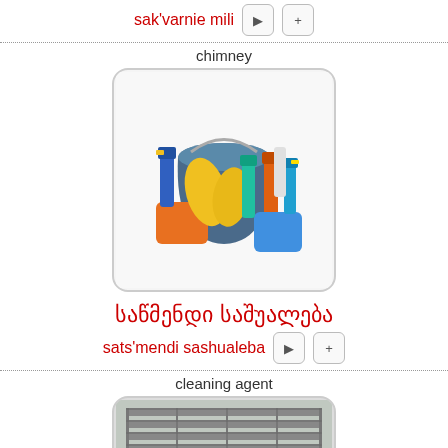sak'varnie mili
chimney
[Figure (photo): Photo of cleaning supplies: a blue bucket, yellow rubber gloves, orange sponge, blue sponge, and several spray bottles with colorful liquid]
საწმენდი საშუალება
sats'mendi sashualeba
cleaning agent
[Figure (photo): Partial photo of an air vent or ventilation grate with metal grilles]